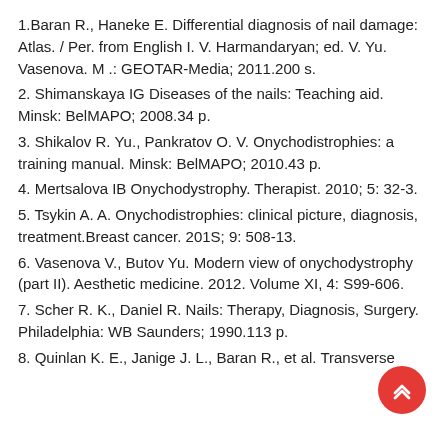1.Baran R., Haneke E. Differential diagnosis of nail damage: Atlas. / Per. from English I. V. Harmandaryan; ed. V. Yu. Vasenova. M .: GEOTAR-Media; 2011.200 s.
2. Shimanskaya IG Diseases of the nails: Teaching aid. Minsk: BelMAPO; 2008.34 p.
3. Shikalov R. Yu., Pankratov O. V. Onychodistrophies: a training manual. Minsk: BelMAPO; 2010.43 p.
4. Mertsalova IB Onychodystrophy. Therapist. 2010; 5: 32-3.
5. Tsykin A. A. Onychodistrophies: clinical picture, diagnosis, treatment.Breast cancer. 201S; 9: 508-13.
6. Vasenova V., Butov Yu. Modern view of onychodystrophy (part II). Aesthetic medicine. 2012. Volume XI, 4: S99-606.
7. Scher R. K., Daniel R. Nails: Therapy, Diagnosis, Surgery. Philadelphia: WB Saunders; 1990.113 p.
8. Quinlan K. E., Janige J. L., Baran R., et al. Transverse...